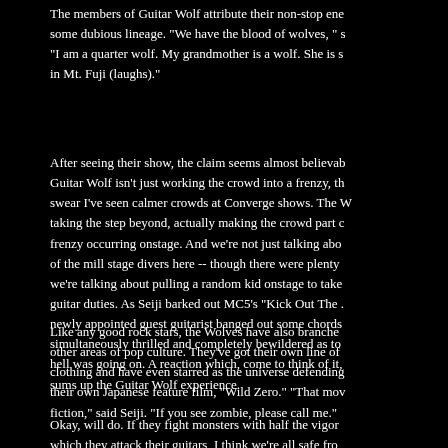The members of Guitar Wolf attribute their non-stop energy to some dubious lineage. "We have the blood of wolves, " s "I am a quarter wolf. My grandmother is a wolf. She is s in Mt. Fuji (laughs)."
After seeing their show, the claim seems almost believab Guitar Wolf isn't just working the crowd into a frenzy, th swear I've seen calmer crowds at Converge shows. The W taking the step beyond, actually making the crowd part c frenzy occurring onstage. And we're not just talking abo of the mill stage divers here -- though there were plenty we're talking about pulling a random kid onstage to take guitar duties. As Seiji barked out MC5's "Kick Out The . newly appointed guest guitarist banged out some chords simultaneously thrilled and completely bewildered as to hell was going on. A reaction which, come to think of it, sums up the Guitar Wolf experience.
Like any good rock stars, the Wolves have also branche other areas of pop culture. They've got their own line of clothing and have even starred as the universe defending their own Japanese feature film, "Wild Zero." "That mov fiction," said Seiji. "If you see zombie, please call me."
Okay, will do. If they fight monsters with half the vigor which they attack their guitars, I think we're all safe fro supernatural invaders. Of course, the ladies might not be